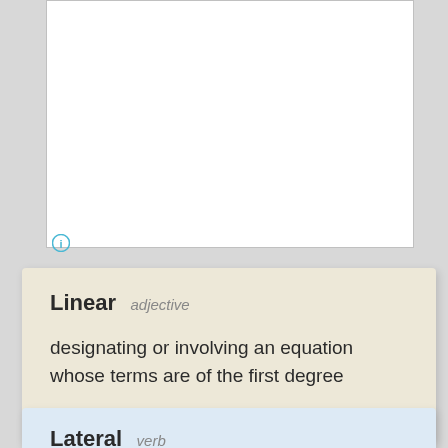[Figure (other): White rectangular box with an info icon (circled i) at lower left corner, on a gray background]
Linear adjective
designating or involving an equation whose terms are of the first degree
Lateral verb